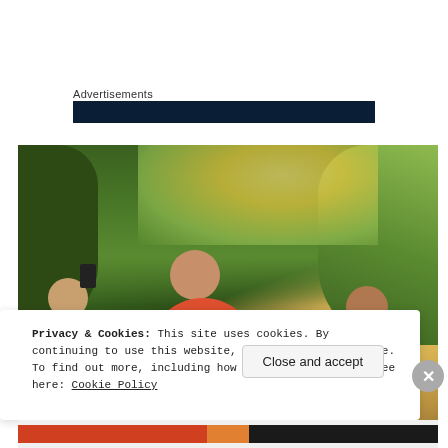Advertisements
[Figure (photo): Dark navy advertisement banner bar]
[Figure (photo): Outdoor photo of men at an event; center person wearing red/coral shirt, another holding a phone, green trees and warm sunlight in background]
Privacy & Cookies: This site uses cookies. By continuing to use this website, you agree to their use.
To find out more, including how to control cookies, see here: Cookie Policy
Close and accept